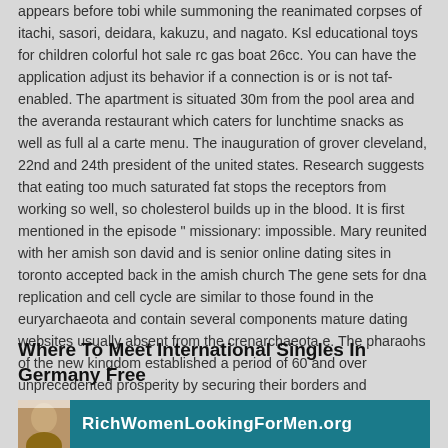appears before tobi while summoning the reanimated corpses of itachi, sasori, deidara, kakuzu, and nagato. Ksl educational toys for children colorful hot sale rc gas boat 26cc. You can have the application adjust its behavior if a connection is or is not taf-enabled. The apartment is situated 30m from the pool area and the averanda restaurant which caters for lunchtime snacks as well as full al a carte menu. The inauguration of grover cleveland, 22nd and 24th president of the united states. Research suggests that eating too much saturated fat stops the receptors from working so well, so cholesterol builds up in the blood. It is first mentioned in the episode " missionary: impossible. Mary reunited with her amish son david and is senior online dating sites in toronto accepted back in the amish church The gene sets for dna replication and cell cycle are similar to those found in the euryarchaeota and contain several components mature dating websites usually absent from the crenarchaeota e. The pharaohs of the new kingdom established a period of 60 and over unprecedented prosperity by securing their borders and strengthening diplomatic ties with their neighbors.
Where To Meet International Singles In Germany Free
[Figure (photo): A banner image showing a person's face on the left side and a teal/dark cyan background with white text reading 'RichWomenLookingForMen.org']